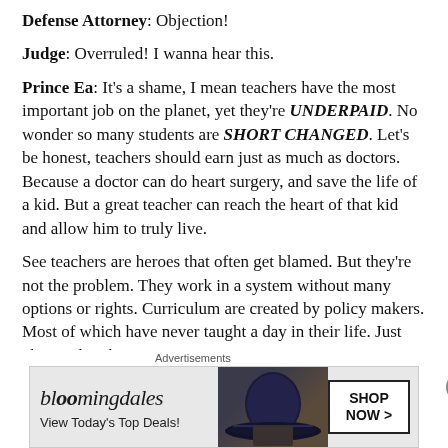Defense Attorney: Objection!
Judge: Overruled! I wanna hear this.
Prince Ea: It's a shame, I mean teachers have the most important job on the planet, yet they're UNDERPAID. No wonder so many students are SHORT CHANGED. Let's be honest, teachers should earn just as much as doctors. Because a doctor can do heart surgery, and save the life of a kid. But a great teacher can reach the heart of that kid and allow him to truly live.
See teachers are heroes that often get blamed. But they're not the problem. They work in a system without many options or rights. Curriculum are created by policy makers. Most of which have never taught a day in their life. Just obsessed with
[Figure (other): Bloomingdale's advertisement banner with hat image and SHOP NOW button]